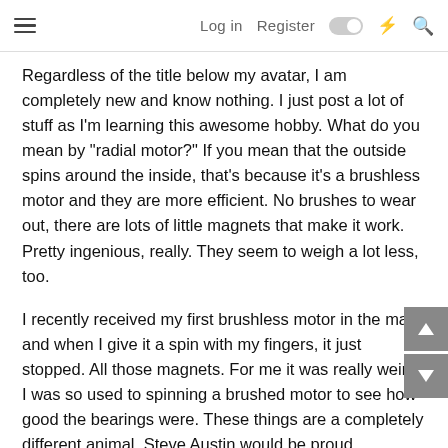Log in  Register
Regardless of the title below my avatar, I am completely new and know nothing. I just post a lot of stuff as I'm learning this awesome hobby. What do you mean by "radial motor?" If you mean that the outside spins around the inside, that's because it's a brushless motor and they are more efficient. No brushes to wear out, there are lots of little magnets that make it work. Pretty ingenious, really. They seem to weigh a lot less, too.
I recently received my first brushless motor in the mail, and when I give it a spin with my fingers, it just stopped. All those magnets. For me it was really weird. I was so used to spinning a brushed motor to see how good the bearings were. These things are a completely different animal. Steve Austin would be proud.
If that's not what you mean by your question, then please clarify.